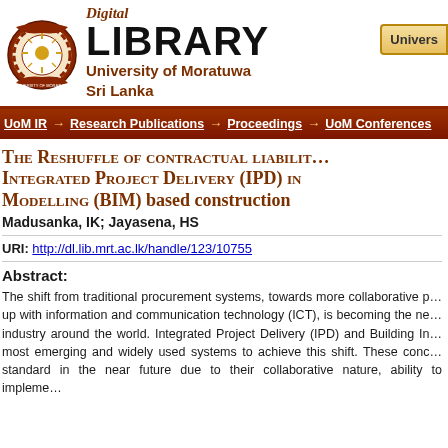[Figure (logo): University of Moratuwa crest/seal logo]
Digital LIBRARY University of Moratuwa Sri Lanka
UoM IR → Research Publications → Proceedings → UoM Conferences
The Reshuffle of contractual liability Integrated Project Delivery (IPD) in Modelling (BIM) based construction
Madusanka, IK; Jayasena, HS
URI: http://dl.lib.mrt.ac.lk/handle/123/10755
Abstract:
The shift from traditional procurement systems, towards more collaborative procurement systems coupled up with information and communication technology (ICT), is becoming the new norm in the construction industry around the world. Integrated Project Delivery (IPD) and Building Information Modelling (BIM) are the most emerging and widely used systems to achieve this shift. These concepts have the potential to become standard in the near future due to their collaborative nature, ability to implement